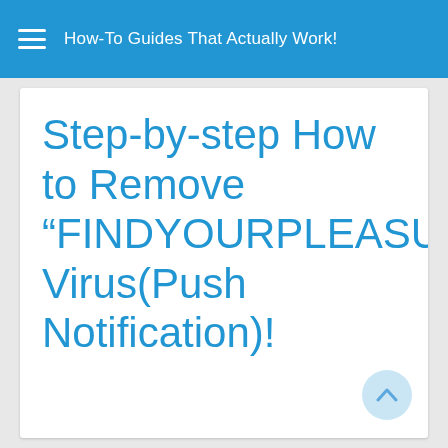How-To Guides That Actually Work!
Step-by-step How to Remove “FINDYOURPLEASURE14.LIFE” Virus(Push Notification)!